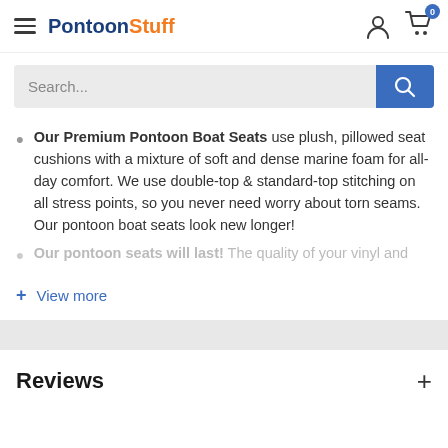PontoonStuff — navigation header with hamburger menu, logo, user icon, and cart (0)
[Figure (screenshot): Search bar with placeholder 'Search...' and blue search button with magnifying glass icon]
Our Premium Pontoon Boat Seats use plush, pillowed seat cushions with a mixture of soft and dense marine foam for all-day comfort. We use double-top & standard-top stitching on all stress points, so you never need worry about torn seams. Our pontoon boat seats look new longer!
Our pontoon seats will last! The quality of your vinyl and
+ View more
Reviews